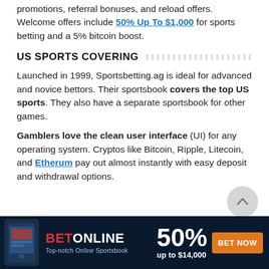promotions, referral bonuses, and reload offers. Welcome offers include 50% Up To $1,000 for sports betting and a 5% bitcoin boost.
US SPORTS COVERING
Launched in 1999, Sportsbetting.ag is ideal for advanced and novice bettors. Their sportsbook covers the top US sports. They also have a separate sportsbook for other games.
Gamblers love the clean user interface (UI) for any operating system. Cryptos like Bitcoin, Ripple, Litecoin, and Etherum pay out almost instantly with easy deposit and withdrawal options.
[Figure (infographic): BetOnline advertisement banner: dark navy background with phone image, BET/ONLINE logo in red/white, 50% up to $14,000 offer, and orange BET NOW button.]